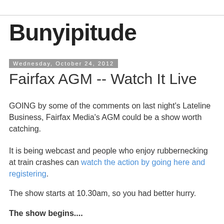Bunyipitude
Wednesday, October 24, 2012
Fairfax AGM -- Watch It Live
GOING by some of the comments on last night's Lateline Business, Fairfax Media's AGM could be a show worth catching.
It is being webcast and people who enjoy rubbernecking at train crashes can watch the action by going here and registering.
The show starts at 10.30am, so you had better hurry.
The show begins....
... with Roger Corbett finding lots of good things to boast about. Readership up, operating revenues robust, best